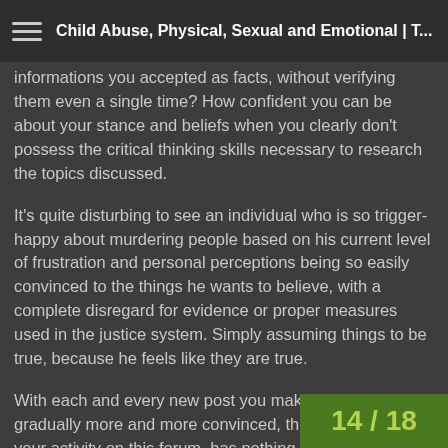Child Abuse, Physical, Sexual and Emotional | T...
informations you accepted as facts, without verifying them even a single time? How confident you can be about your stance and beliefs when you clearly don't possess the critical thinking skills necessary to research the topics discussed.
It's quite disturbing to see an individual who is so trigger-happy about murdering people based on his current level of frustration and personal perceptions being so easily convinced to the things he wants to believe, with a complete disregard for evidence or proper measures used in the justice system. Simply assuming things to be true, because he feels like they are true.
With each and every new post you make, I'm growing gradually more and more convinced, that the purpose of your activity on this forum, has nothing to do with either the topic of CSE or the topic of pedophilia itself - you simply don't care about these issues.
None of your posts appears to address the situations in a manner that would be produ